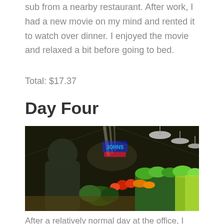sub from a nearby restaurant. After work, I had a new movie on my mind and rented it to watch over dinner. I enjoyed the movie and relaxed a bit before going to bed.
Total: $17.37
Day Four
[Figure (photo): A person standing at a colorful produce market with rows of fresh vegetables and fruit under warm hanging lights, with neon signs visible in the background.]
After a relatively normal day at the office, I